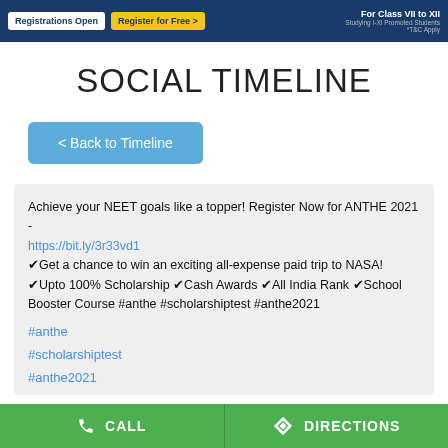[Figure (screenshot): Top navigation banner with dark blue background showing 'Registrations Open', 'Register for Free >' buttons on left and 'For Class VII to XII' text on right]
SOCIAL TIMELINE
< Back to Timeline
Achieve your NEET goals like a topper! Register Now for ANTHE 2021 -
https://bit.ly/3r33vd1
✔Get a chance to win an exciting all-expense paid trip to NASA! ✔Upto 100% Scholarship ✔Cash Awards ✔All India Rank ✔School Booster Course #anthe #scholarshiptest #anthe2021
#anthe
#scholarshiptest
#anthe2021
CALL   DIRECTIONS